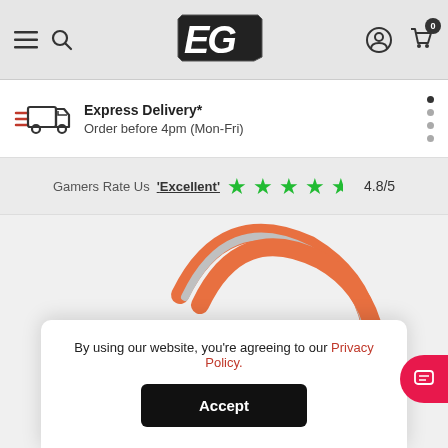[Figure (logo): EG logo — stylized italicized letters E and G in a lightning-bolt style badge]
Express Delivery*
Order before 4pm (Mon-Fri)
Gamers Rate Us 'Excellent' 4.8/5
[Figure (photo): Gaming headset with orange and grey accents, partially visible]
By using our website, you're agreeing to our Privacy Policy.
Accept